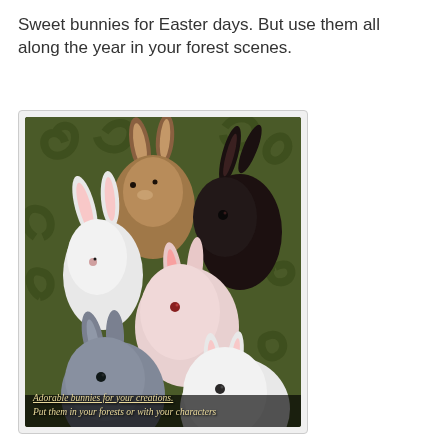Sweet bunnies for Easter days. But use them all along the year in your forest scenes.
[Figure (photo): A composite image of six bunnies of different colors (white, brown/tan, dark brown/black, pink/albino, gray, white) arranged together against a dark olive-green decorative background with swirl patterns. At the bottom, text reads: 'Adorable bunnies for your creations. Put them in your forests or with your characters']